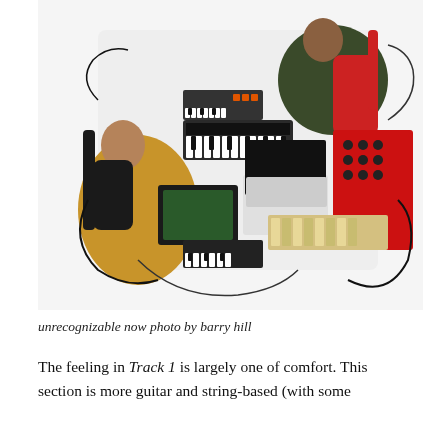[Figure (photo): Overhead/bird's-eye view of two musicians sitting on a white floor surrounded by numerous instruments and equipment: guitars, keyboards, synthesizers, drum machines, a laptop, cables, and other music gear. One person wears a yellow/mustard outfit on the left holding a dark guitar; another person in dark green shirt sits upper right with a red guitar.]
unrecognizable now photo by barry hill
The feeling in Track 1 is largely one of comfort. This section is more guitar and string-based (with some